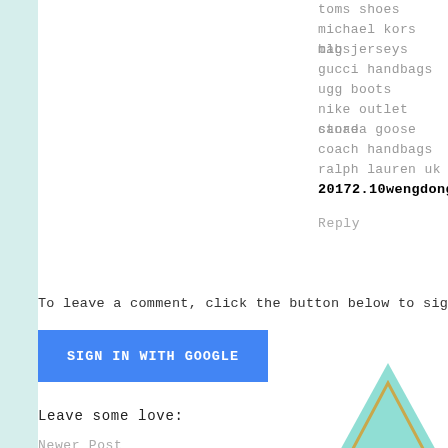toms shoes
michael kors bags
mlb jerseys
gucci handbags
ugg boots
nike outlet store
canada goose
coach handbags
ralph lauren uk
20172.10wengdongdong
Reply
To leave a comment, click the button below to sign
[Figure (other): Blue SIGN IN WITH GOOGLE button]
Leave some love:
Newer Post
Subscribe to: Post Comments (Atom)
[Figure (illustration): Triangle logo with mint green and gold outline]